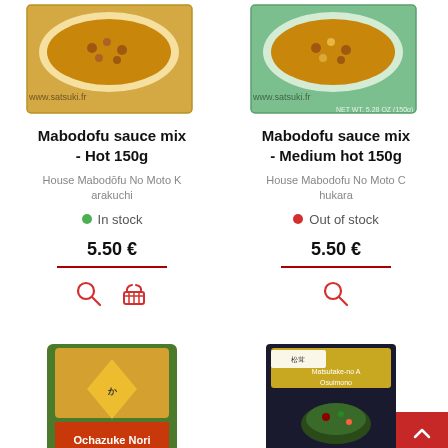[Figure (photo): Product photo of Mabodofu sauce mix Hot 150g box]
[Figure (photo): Product photo of Mabodofu sauce mix Medium hot 150g box]
Mabodofu sauce mix - Hot 150g
Mabodofu sauce mix - Medium hot 150g
House Mabodōfu No Moto Karakuchi
House Mabodofu No Moto Chukara
In stock
Out of stock
5.50 €
5.50 €
[Figure (photo): Product photo of Ochazuke Nori package]
[Figure (photo): Product photo of Matsutake-no Aji Osuimono package]